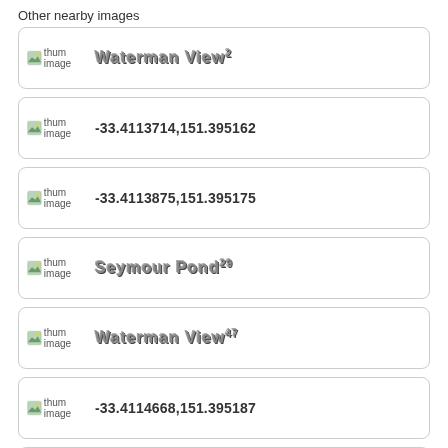Other nearby images
Waterman View 2 [thum image]
-33.4113714,151.395162 [thum image]
-33.4113875,151.395175 [thum image]
Seymour Pond 29 [thum image]
Waterman View 47 [thum image]
-33.4114668,151.395187 [thum image]
-33.4114453,151.395016 [thum image]